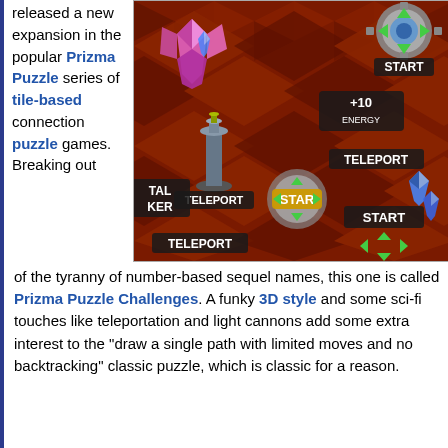released a new expansion in the popular Prizma Puzzle series of tile-based connection puzzle games. Breaking out of the tyranny of number-based sequel names, this one is called Prizma Puzzle Challenges. A funky 3D style and some sci-fi touches like teleportation and light cannons add some extra interest to the "draw a single path with limited moves and no backtracking" classic puzzle, which is classic for a reason.
[Figure (screenshot): Screenshot of Prizma Puzzle Challenges game showing a 3D tile-based puzzle board with red/dark checkerboard tiles, blue crystal towers, a pink crystal, and various game elements labeled START, TELEPORT, +10 ENERGY, STAR, TAL, KER]